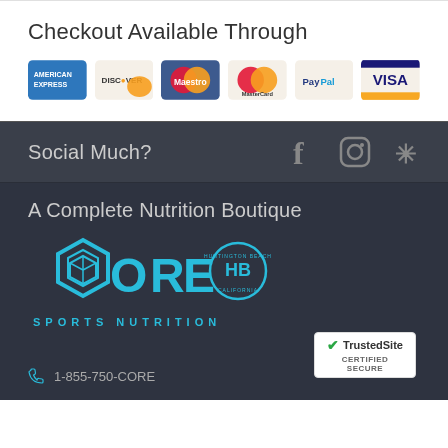Checkout Available Through
[Figure (logo): Payment method logos: American Express, Discover, Maestro, MasterCard, PayPal, Visa]
Social Much?
[Figure (infographic): Social media icons: Facebook, Instagram, Yelp]
A Complete Nutrition Boutique
[Figure (logo): CORE HB Sports Nutrition logo in cyan/teal on dark background]
1-855-750-CORE
[Figure (logo): TrustedSite Certified Secure badge]